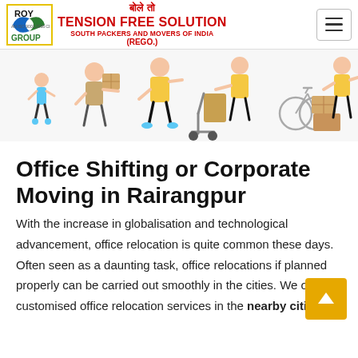ROY GROUP — TENSION FREE SOLUTION SOUTH PACKERS AND MOVERS OF INDIA (REGO.)
[Figure (illustration): Illustration of people moving boxes and furniture, including a child, adults carrying boxes, a person with a hand truck, and someone holding a box, with a bicycle and stacked boxes in the background.]
Office Shifting or Corporate Moving in Rairangpur
With the increase in globalisation and technological advancement, office relocation is quite common these days. Often seen as a daunting task, office relocations if planned properly can be carried out smoothly in the cities. We offer customised office relocation services in the nearby cities